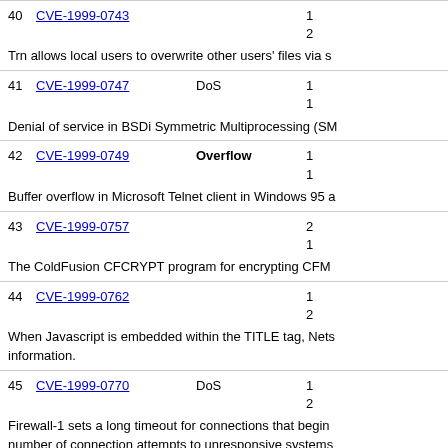40 CVE-1999-0743
Trn allows local users to overwrite other users' files via s
41 CVE-1999-0747 DoS
Denial of service in BSDi Symmetric Multiprocessing (SM
42 CVE-1999-0749 Overflow
Buffer overflow in Microsoft Telnet client in Windows 95 a
43 CVE-1999-0757
The ColdFusion CFCRYPT program for encrypting CFM
44 CVE-1999-0762
When Javascript is embedded within the TITLE tag, Nets information.
45 CVE-1999-0770 DoS
Firewall-1 sets a long timeout for connections that begin number of connection attempts to unresponsive systems
46 CVE-1999-0782